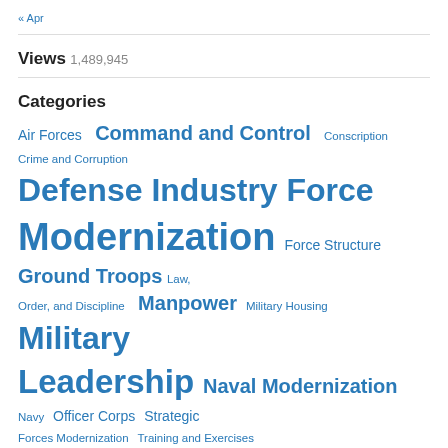« Apr
Views
1,489,945
Categories
Air Forces  Command and Control  Conscription  Crime and Corruption  Defense Industry Force  Modernization  Force Structure  Ground Troops  Law, Order, and Discipline  Manpower  Military Housing  Military Leadership  Naval Modernization  Navy  Officer Corps  Strategic Forces Modernization  Training and Exercises